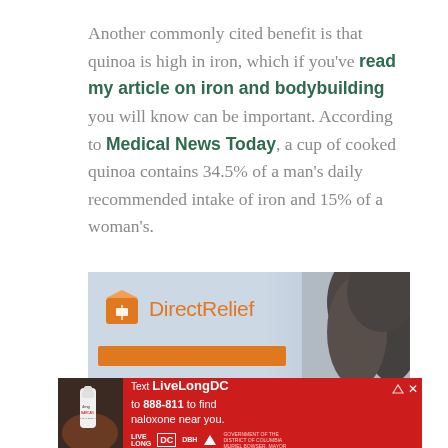Another commonly cited benefit is that quinoa is high in iron, which if you've read my article on iron and bodybuilding you will know can be important. According to Medical News Today, a cup of cooked quinoa contains 34.5% of a man's daily recommended intake of iron and 15% of a woman's.
[Figure (other): DirectRelief charity advertisement banner with logo and orange call-to-action bar, next to a photo of dark hair.]
[Figure (other): Red advertisement banner: Text LiveLongDC to 888-811 to find naloxone near you. Includes LiveLong DC and DBH logos. Shows a hand holding a Narcan nasal spray.]